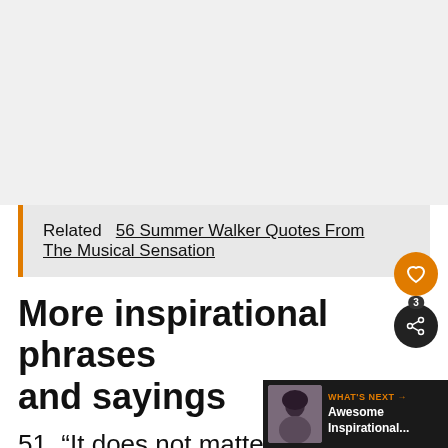Related   56 Summer Walker Quotes From The Musical Sensation
More inspirational phrases and sayings
51. “It does not matter how slowly you go as long as you do not stop.” – Confucius